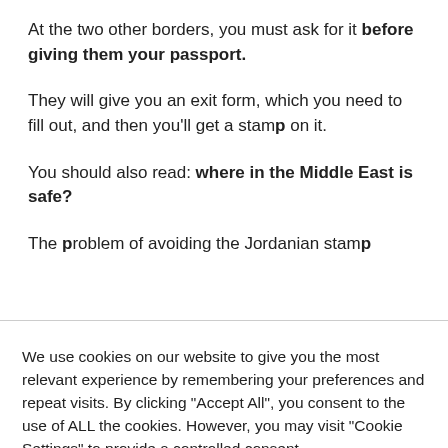At the two other borders, you must ask for it before giving them your passport.
They will give you an exit form, which you need to fill out, and then you'll get a stamp on it.
You should also read: where in the Middle East is safe?
The problem of avoiding the Jordanian stamp
We use cookies on our website to give you the most relevant experience by remembering your preferences and repeat visits. By clicking "Accept All", you consent to the use of ALL the cookies. However, you may visit "Cookie Settings" to provide a controlled consent.